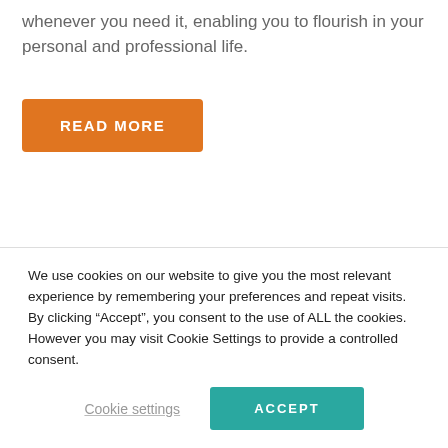whenever you need it, enabling you to flourish in your personal and professional life.
READ MORE
PHYSICAL
We use cookies on our website to give you the most relevant experience by remembering your preferences and repeat visits. By clicking “Accept”, you consent to the use of ALL the cookies. However you may visit Cookie Settings to provide a controlled consent.
Cookie settings
ACCEPT